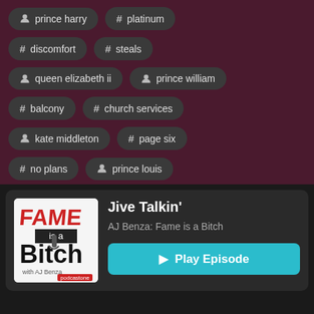prince harry
# platinum
# discomfort
# steals
queen elizabeth ii
prince william
# balcony
# church services
kate middleton
# page six
# no plans
prince louis
Jive Talkin'
AJ Benza: Fame is a Bitch
Play Episode